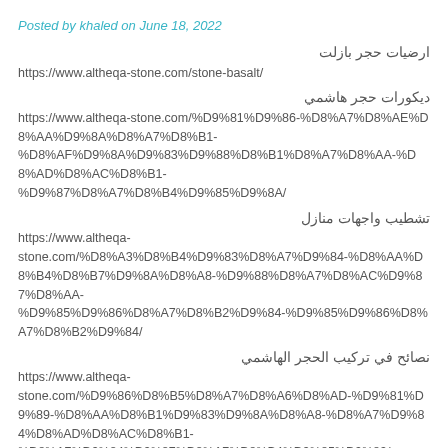Posted by khaled on June 18, 2022
ارضيات حجر بازلت
https://www.altheqa-stone.com/stone-basalt/
ديكورات حجر هاشمي
https://www.altheqa-stone.com/%D9%81%D9%86-%D8%A7%D8%AE%D8%AA%D9%8A%D8%A7%D8%B1-%D8%AF%D9%8A%D9%83%D9%88%D8%B1%D8%A7%D8%AA-%D8%AD%D8%AC%D8%B1-%D9%87%D8%A7%D8%B4%D9%85%D9%8A/
تشطيب واجهات منازل
https://www.altheqa-stone.com/%D8%A3%D8%B4%D9%83%D8%A7%D9%84-%D8%AA%D8%B4%D8%B7%D9%8A%D8%A8-%D9%88%D8%A7%D8%AC%D9%87%D8%AA-%D9%85%D9%86%D8%A7%D8%B2%D9%84-%D9%85%D9%86%D8%A7%D8%B2%D9%84/
نصائح في تركيب الحجر الهاشمي
https://www.altheqa-stone.com/%D9%86%D8%B5%D8%A7%D8%A6%D8%AD-%D9%81%D9%89-%D8%AA%D8%B1%D9%83%D9%8A%D8%A8-%D8%A7%D9%84%D8%AD%D8%AC%D8%B1-%D8%A7%D9%84%D9%87%D8%A7%D8%B4%D9%85%D9%89/